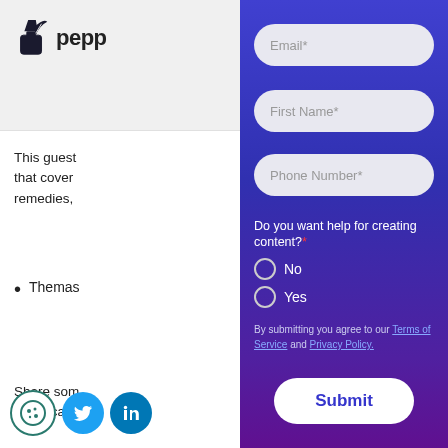[Figure (logo): Pepper content platform logo with ink bottle icon and text 'pepp' (partially visible)]
This guest... that cover... remedies,
Themas...
Share som... healthcar...
Mindbo...
[Figure (screenshot): Web form overlay with fields for Email*, First Name*, Phone Number*, radio buttons for 'Do you want help for creating content?' with No/Yes options, terms of service text, and a Submit button. Purple/blue gradient background.]